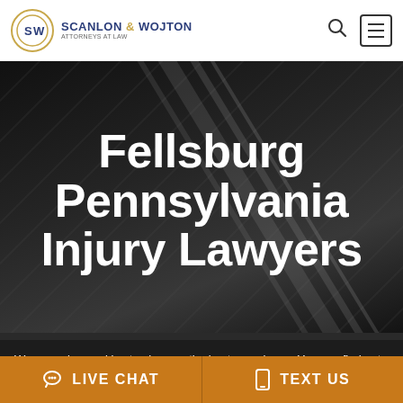[Figure (logo): Scanlon & Wojton Attorneys at Law logo with circular SW monogram and company name]
Fellsburg Pennsylvania Injury Lawyers
We are using cookies to give you the best experience. You can find out more about which cookies we are using or switch them off via Cookie Settings Window.
LIVE CHAT
TEXT US